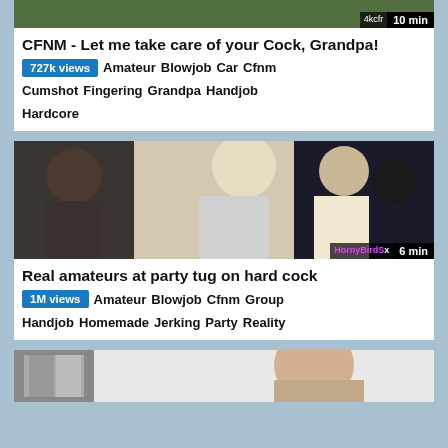[Figure (screenshot): Top partial video thumbnail - outdoor greenery scene, cropped at top]
CFNM - Let me take care of your Cock, Grandpa!
727k views  Amateur  Blowjob  Car  Cfnm  Cumshot  Fingering  Grandpa  Handjob  Hardcore
[Figure (screenshot): Video thumbnail showing party scene with multiple people]
Real amateurs at party tug on hard cock
1M views  Amateur  Blowjob  Cfnm  Group  Handjob  Homemade  Jerking  Party  Reality
[Figure (screenshot): Partial video thumbnail at bottom - indoor scene]